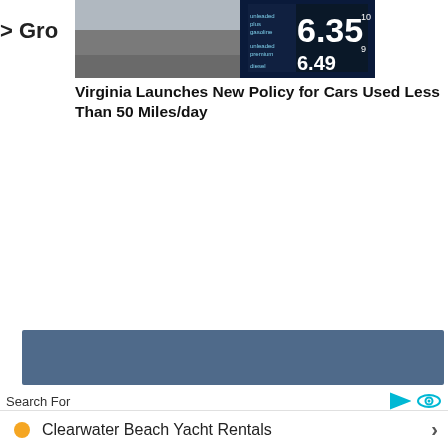> Gro
[Figure (photo): A gas station price sign showing prices including 6.35 and 6.49, with labels for unleaded plus, gasoline, unleaded premium, diesel. Background shows a road/parking area.]
Virginia Launches New Policy for Cars Used Less Than 50 Miles/day
[Figure (screenshot): Advertisement banner with dark blue/slate background]
Search For
Clearwater Beach Yacht Rentals
Private Yacht Rentals